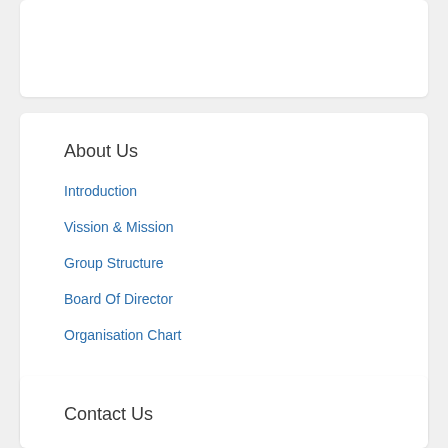About Us
Introduction
Vission & Mission
Group Structure
Board Of Director
Organisation Chart
Contact Us